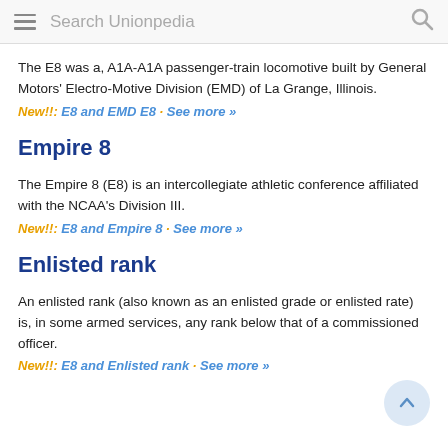Search Unionpedia
The E8 was a, A1A-A1A passenger-train locomotive built by General Motors' Electro-Motive Division (EMD) of La Grange, Illinois.
New!!: E8 and EMD E8 · See more »
Empire 8
The Empire 8 (E8) is an intercollegiate athletic conference affiliated with the NCAA's Division III.
New!!: E8 and Empire 8 · See more »
Enlisted rank
An enlisted rank (also known as an enlisted grade or enlisted rate) is, in some armed services, any rank below that of a commissioned officer.
New!!: E8 and Enlisted rank · See more »